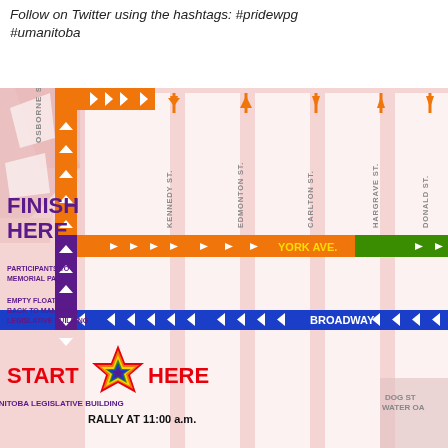Follow on Twitter using the hashtags: #pridewpg #umanitoba
[Figure (map): Pride Winnipeg parade route map showing start at Manitoba Legislative Building (Rally at 11:00 a.m.), route going north along Memorial Blvd with orange arrows, east along York Ave., south on a cross street, and west along Broadway back to finish near Memorial Park. Street names shown: Osborne St., Memorial Blvd., Kennedy St., Edmonton St., Carlton St., Hargrave St., Donald St., Broadway, York Ave. Labels: FINISH HERE, PARTICIPANTS TO MEMORIAL PARK, EMPTY FLOATS BACK TO MANITOBA LEGISLATIVE BUILDING, START HERE (with rainbow star), MANITOBA LEGISLATIVE BUILDING RALLY AT 11:00 a.m., DOG ST WATER O...]